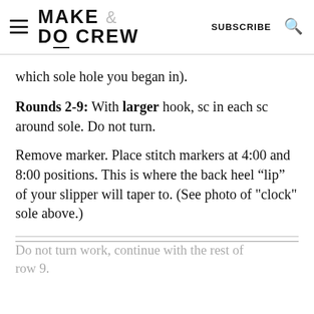MAKE & DO CREW  SUBSCRIBE
which sole hole you began in).
Rounds 2-9: With larger hook, sc in each sc around sole. Do not turn.
Remove marker. Place stitch markers at 4:00 and 8:00 positions. This is where the back heel “lip” of your slipper will taper to. (See photo of "clock" sole above.)
Do not turn work, continue with the rest of row 9.